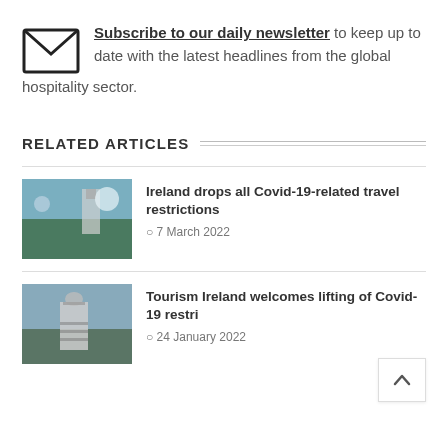Subscribe to our daily newsletter to keep up to date with the latest headlines from the global hospitality sector.
RELATED ARTICLES
Ireland drops all Covid-19-related travel restrictions
7 March 2022
Tourism Ireland welcomes lifting of Covid-19 restri...
24 January 2022